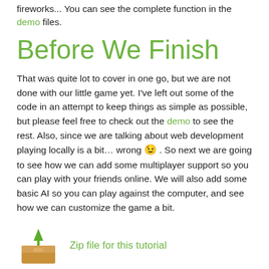fireworks... You can see the complete function in the demo files.
Before We Finish
That was quite lot to cover in one go, but we are not done with our little game yet. I’ve left out some of the code in an attempt to keep things as simple as possible, but please feel free to check out the demo to see the rest. Also, since we are talking about web development playing locally is a bit… wrong 😉 . So next we are going to see how we can add some multiplayer support so you can play with your friends online. We will also add some basic AI so you can play against the computer, and see how we can customize the game a bit.
Zip file for this tutorial
Demo for this tutorial